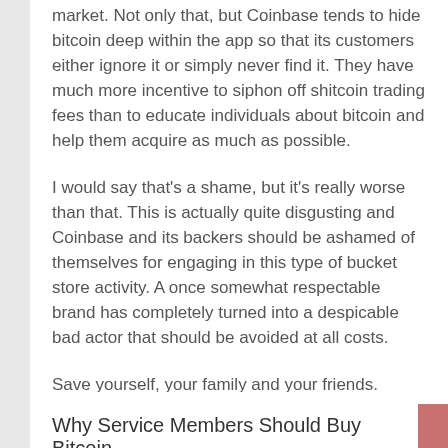market. Not only that, but Coinbase tends to hide bitcoin deep within the app so that its customers either ignore it or simply never find it. They have much more incentive to siphon off shitcoin trading fees than to educate individuals about bitcoin and help them acquire as much as possible.
I would say that's a shame, but it's really worse than that. This is actually quite disgusting and Coinbase and its backers should be ashamed of themselves for engaging in this type of bucket store activity. A once somewhat respectable brand has completely turned into a despicable bad actor that should be avoided at all costs.
Save yourself, your family and your friends. Remove your bitcoin from Coinbase and advise your network to do the same.
Why Service Members Should Buy Bitcoin